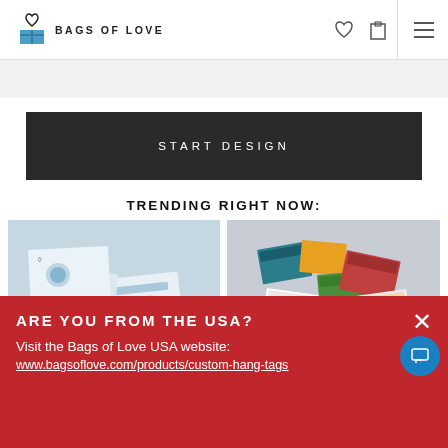BAGS OF LOVE
START DESIGN
TRENDING RIGHT NOW:
[Figure (photo): Photo of custom stationery/labels laid flat on white surface, light blue and white tones]
[Figure (photo): Photo of multiple custom packaging boxes and hang tags in various colors arranged on white surface]
ARE YOU FROM THE USA?
Visit the Bags of Love USA website:
www.bagsoflove.com/products/custom-hang-tags